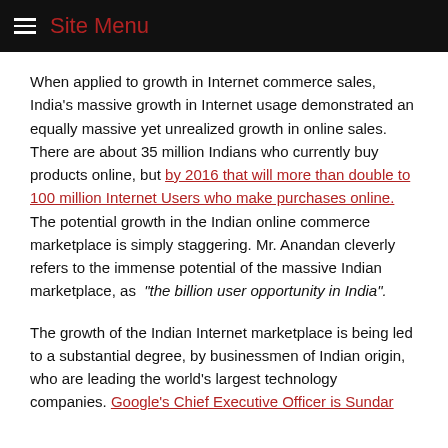Site Menu
When applied to growth in Internet commerce sales, India's massive growth in Internet usage demonstrated an equally massive yet unrealized growth in online sales. There are about 35 million Indians who currently buy products online, but by 2016 that will more than double to 100 million Internet Users who make purchases online. The potential growth in the Indian online commerce marketplace is simply staggering. Mr. Anandan cleverly refers to the immense potential of the massive Indian marketplace, as “the billion user opportunity in India”.
The growth of the Indian Internet marketplace is being led to a substantial degree, by businessmen of Indian origin, who are leading the world’s largest technology companies. Google’s Chief Executive Officer is Sundar